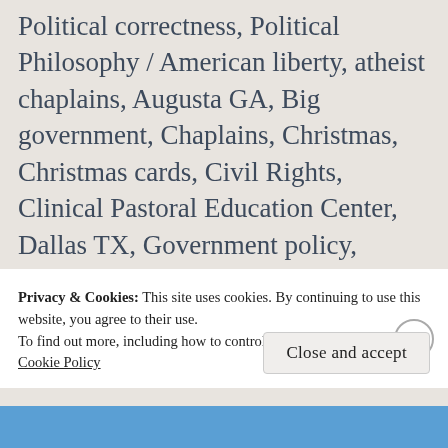Political correctness, Political Philosophy / American liberty, atheist chaplains, Augusta GA, Big government, Chaplains, Christmas, Christmas cards, Civil Rights, Clinical Pastoral Education Center, Dallas TX, Government policy, intolerance, Intolerance of religious belief, Liberty, Nancy Dietsch, Political philosophy, Religious liberty, San Diego, VA, Veterans, Veterans Administration, war on Christmas
/ 6 Comments
Privacy & Cookies: This site uses cookies. By continuing to use this website, you agree to their use.
To find out more, including how to control cookies, see here: Cookie Policy